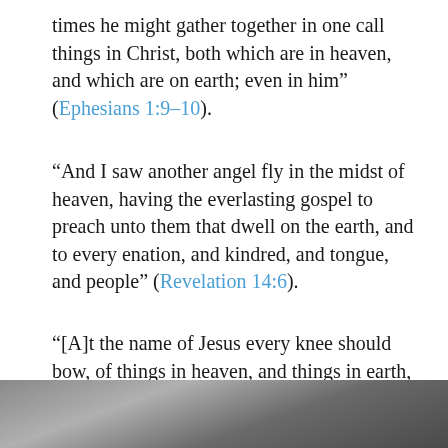times he might gather together in one call things in Christ, both which are in heaven, and which are on earth; even in him" (Ephesians 1:9–10).
"And I saw another angel fly in the midst of heaven, having the everlasting gospel to preach unto them that dwell on the earth, and to every enation, and kindred, and tongue, and people" (Revelation 14:6).
"[A]t the name of Jesus every knee should bow, of things in heaven, and things in earth, and things under the earth;
[Figure (photo): Dark gray gradient photo area visible at the bottom of the page, showing top portion of an image with dark to medium gray tones.]